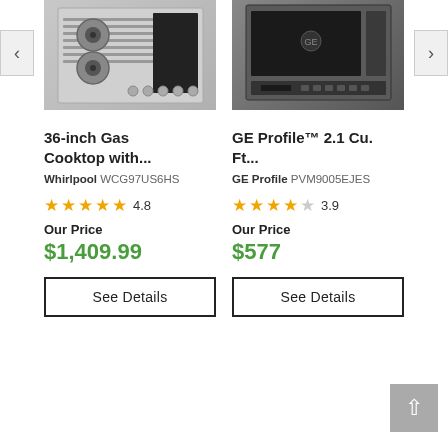[Figure (photo): Whirlpool 36-inch Gas Cooktop product image showing stainless steel cooktop with burners]
[Figure (photo): GE Profile over-the-range microwave product image with dark front panel and controls]
36-inch Gas Cooktop with...
GE Profile™ 2.1 Cu. Ft...
Whirlpool WCG97US6HS
GE Profile PVM9005EJES
4.8
3.9
Our Price
$1,409.99
Our Price
$577
See Details
See Details